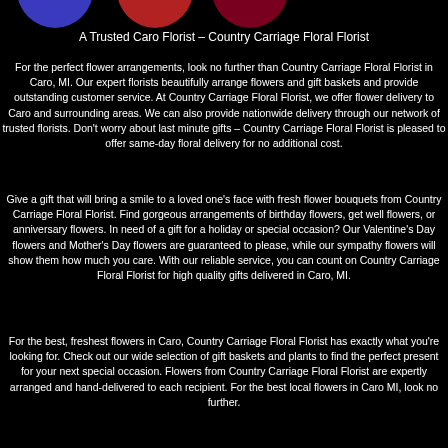[Figure (illustration): Three overlapping circles at top left: blue, red/pink, and dark red/maroon colored circles partially visible at the top of the page]
A Trusted Caro Florist – Country Carriage Floral Florist
For the perfect flower arrangements, look no further than Country Carriage Floral Florist in Caro, MI. Our expert florists beautifully arrange flowers and gift baskets and provide outstanding customer service. At Country Carriage Floral Florist, we offer flower delivery to Caro and surrounding areas. We can also provide nationwide delivery through our network of trusted florists. Don't worry about last minute gifts – Country Carriage Floral Florist is pleased to offer same-day floral delivery for no additional cost.
Give a gift that will bring a smile to a loved one's face with fresh flower bouquets from Country Carriage Floral Florist. Find gorgeous arrangements of birthday flowers, get well flowers, or anniversary flowers. In need of a gift for a holiday or special occasion? Our Valentine's Day flowers and Mother's Day flowers are guaranteed to please, while our sympathy flowers will show them how much you care. With our reliable service, you can count on Country Carriage Floral Florist for high quality gifts delivered in Caro, MI.
For the best, freshest flowers in Caro, Country Carriage Floral Florist has exactly what you're looking for. Check out our wide selection of gift baskets and plants to find the perfect present for your next special occasion. Flowers from Country Carriage Floral Florist are expertly arranged and hand-delivered to each recipient. For the best local flowers in Caro MI, look no further.